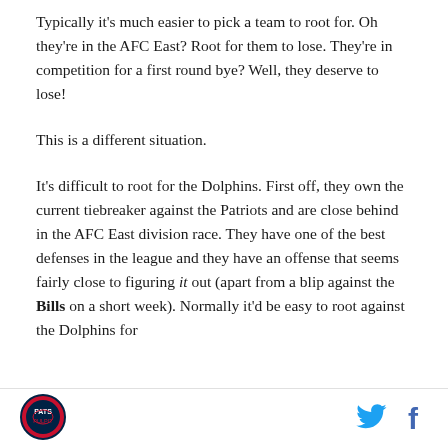Typically it's much easier to pick a team to root for. Oh they're in the AFC East? Root for them to lose. They're in competition for a first round bye? Well, they deserve to lose!
This is a different situation.
It's difficult to root for the Dolphins. First off, they own the current tiebreaker against the Patriots and are close behind in the AFC East division race. They have one of the best defenses in the league and they have an offense that seems fairly close to figuring it out (apart from a blip against the Bills on a short week). Normally it'd be easy to root against the Dolphins for
[Figure (logo): Circular logo with a football helmet graphic and text around the border]
[Figure (logo): Twitter bird icon in blue]
[Figure (logo): Facebook f icon in dark blue]